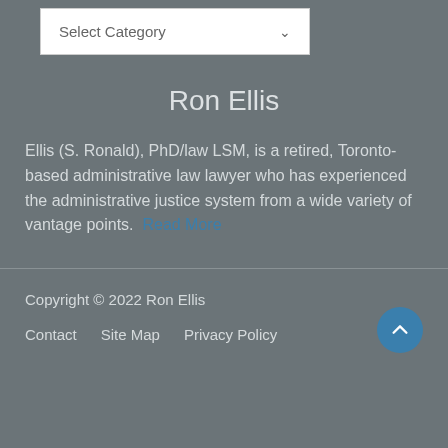[Figure (screenshot): Dropdown UI element with 'Select Category' label and chevron arrow]
Ron Ellis
Ellis (S. Ronald), PhD/law LSM, is a retired, Toronto-based administrative law lawyer who has experienced the administrative justice system from a wide variety of vantage points.  Read More
Copyright © 2022 Ron Ellis
Contact   Site Map   Privacy Policy